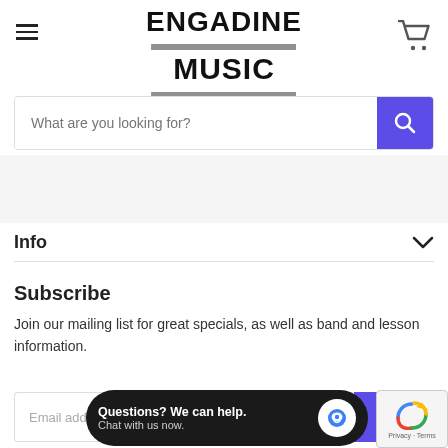[Figure (logo): Engadine Music logo with hamburger menu on the left and shopping cart icon on the right]
What are you looking for?
Info
Subscribe
Join our mailing list for great specials, as well as band and lesson information.
Email address
Up
Questions? We can help. Chat with us now.
Privacy · Terms